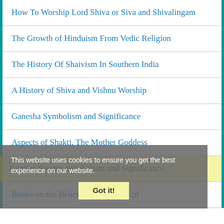How To Worship Lord Shiva or Siva and Shivalingam
The Growth of Hinduism From Vedic Religion
The History Of Shaivism In Southern India
A History of Shiva and Vishnu Worship
Ganesha Symbolism and Significance
Aspects of Shakti, The Mother Goddess
Kumara Swamy Symbolism and Significance
Books on the Beliefs and Practices of
This website uses cookies to ensure you get the best experience on our website.
Got it!